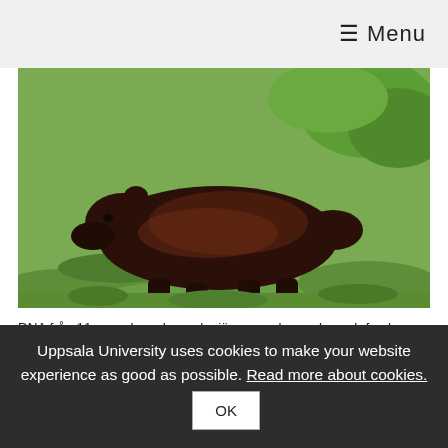☰ Menu
[Figure (photo): A wolverine (järv) standing on grass, dark brown fur, side profile view]
DNA från 11 svenska och norska järvar analyserades och forskarna kunde se att variationen i DNA hos järvarna var mycket låg.
Genetiska analyser har länge varit en viktig del av övervakningen av skandinaviska rovdjur. Forskare vid institutionen för ekologi och genetik har kartlagt hela
Uppsala University uses cookies to make your website experience as good as possible. Read more about cookies. OK